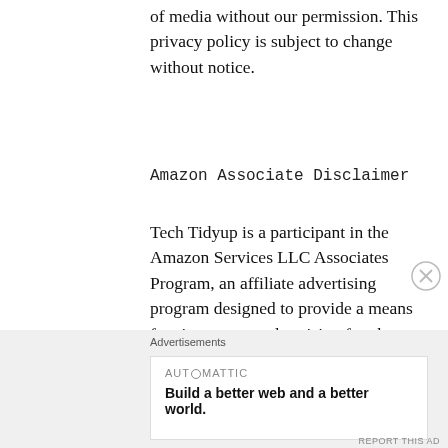of media without our permission. This privacy policy is subject to change without notice.
Amazon Associate Disclaimer
Tech Tidyup is a participant in the Amazon Services LLC Associates Program, an affiliate advertising program designed to provide a means for sites to earn advertising fees by advertising and linking to amazon.com. Amazon offers a small commission on products sold through their affiliate links. As an Amazon Associate we earn from qualifying purchases. When you make a purchase after clicking on one of those links, We earn a small commission that helps
Advertisements
[Figure (other): Automattic advertisement banner: 'Build a better web and a better world.']